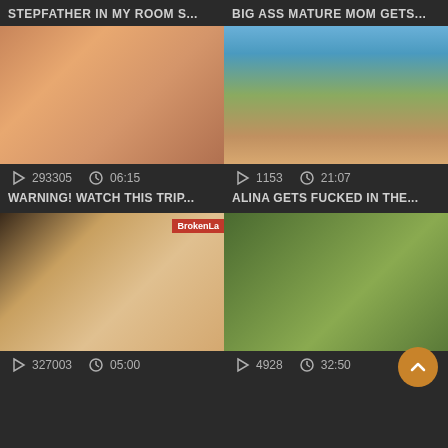STEPFATHER IN MY ROOM S...
BIG ASS MATURE MOM GETS...
[Figure (photo): Close-up photo with warm skin tones]
[Figure (photo): Outdoor scene with palm trees and blue sky]
293305  06:15
1153  21:07
WARNING! WATCH THIS TRIP...
ALINA GETS FUCKED IN THE...
[Figure (photo): Close-up photo of blonde, BrokenLa tag overlay]
[Figure (photo): Outdoor greenery scene]
327003  05:00
4928  32:50